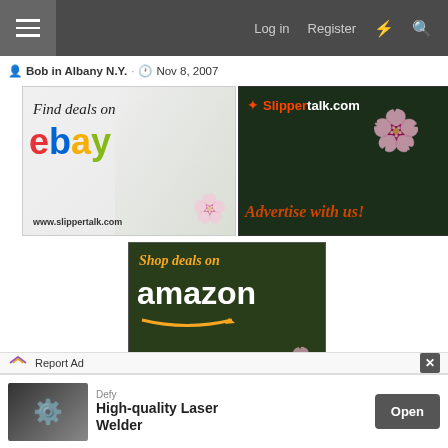☰  Log in  Register  ⚡  🔍
👤 Bob in Albany N.Y. · 🕐 Nov 8, 2007
[Figure (infographic): eBay ad banner: Find deals on ebay - www.slippertalk.com with white orchid flower]
[Figure (infographic): Slippertalk.com ad banner: Advertise with us! with orchid flowers on dark green background]
[Figure (infographic): Amazon ad banner: Shop deals on amazon - www.slippertalk.com with pink orchid flowers]
Help Support Slippertalk Orchid Forum:  DONATE
Report Ad
[Figure (infographic): Defy - High-quality Laser Welder ad with Open button]